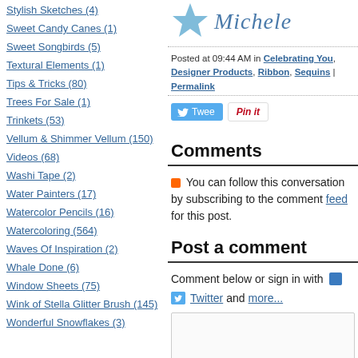Stylish Sketches (4)
Sweet Candy Canes (1)
Sweet Songbirds (5)
Textural Elements (1)
Tips & Tricks (80)
Trees For Sale (1)
Trinkets (53)
Vellum & Shimmer Vellum (150)
Videos (68)
Washi Tape (2)
Water Painters (17)
Watercolor Pencils (16)
Watercoloring (564)
Waves Of Inspiration (2)
Whale Done (6)
Window Sheets (75)
Wink of Stella Glitter Brush (145)
Wonderful Snowflakes (3)
[Figure (illustration): Signature graphic with blue star/fish and cursive Michele text]
Posted at 09:44 AM in Celebrating You, Designer Products, Ribbon, Sequins | Permalink
[Figure (other): Tweet button and Pin it button]
Comments
You can follow this conversation by subscribing to the comment feed for this post.
Post a comment
Comment below or sign in with
Twitter and more...
Comment text area (empty)